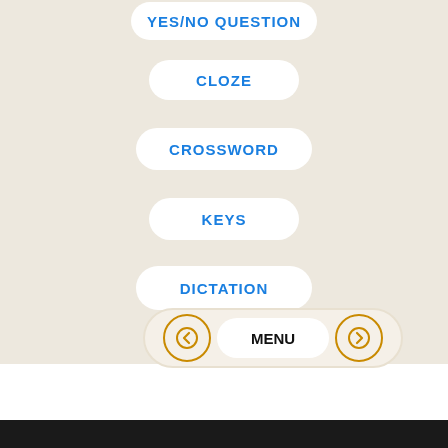YES/NO QUESTION
CLOZE
CROSSWORD
KEYS
DICTATION
[Figure (other): Navigation bar with back arrow, MENU button, and forward arrow]